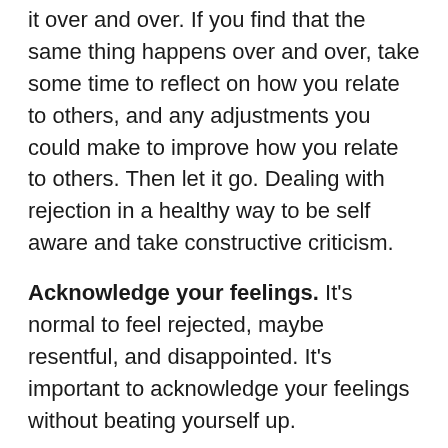it over and over. If you find that the same thing happens over and over, take some time to reflect on how you relate to others, and any adjustments you could make to improve how you relate to others. Then let it go. Dealing with rejection in a healthy way to be self aware and take constructive criticism.
Acknowledge your feelings. It's normal to feel rejected, maybe resentful, and disappointed. It's important to acknowledge your feelings without beating yourself up.
Tip 5- Warning signs during dating
Warning signs are behaviors that may indicate...